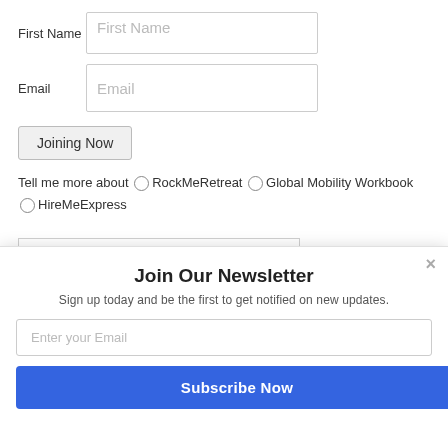First Name [First Name input field]
Email [Email input field]
Joining Now [button]
Tell me more about  ○ RockMeRetreat  ○ Global Mobility Workbook  ○ HireMeExpress
[Figure (logo): Partial logo image showing a blue bird/wing graphic and the beginning of the word 'Global' in blue text]
Join Our Newsletter
Sign up today and be the first to get notified on new updates.
Enter your Email [input field]
Subscribe Now [button]